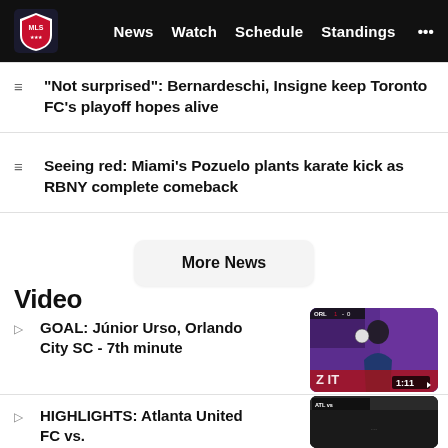MLS — News | Watch | Schedule | Standings
"Not surprised": Bernardeschi, Insigne keep Toronto FC's playoff hopes alive
Seeing red: Miami's Pozuelo plants karate kick as RBNY complete comeback
More News
Video
GOAL: Júnior Urso, Orlando City SC - 7th minute
[Figure (screenshot): Video thumbnail showing an Orlando City SC player celebrating, with duration 1:11]
HIGHLIGHTS: Atlanta United FC vs.
[Figure (screenshot): Video thumbnail for Atlanta United FC highlights (partially visible)]